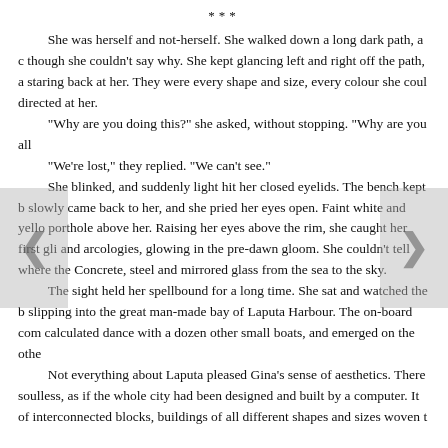***
She was herself and not-herself. She walked down a long dark path, a c though she couldn't say why. She kept glancing left and right off the path, a staring back at her. They were every shape and size, every colour she coul directed at her.
“Why are you doing this?” she asked, without stopping. “Why are you all
“We’re lost,” they replied. “We can’t see.”
She blinked, and suddenly light hit her closed eyelids. The bench kept b slowly came back to her, and she pried her eyes open. Faint white and yello porthole above her. Raising her eyes above the rim, she caught her first gli and arcologies, glowing in the pre-dawn gloom. She couldn’t tell where the Concrete, steel and mirrored glass from the sea to the sky.
The sight held her spellbound for a long time. She sat and watched the b slipping into the great man-made bay of Laputa Harbour. The on-board com calculated dance with a dozen other small boats, and emerged on the othe
Not everything about Laputa pleased Gina’s sense of aesthetics. There soulless, as if the whole city had been designed and built by a computer. It of interconnected blocks, buildings of all different shapes and sizes woven t